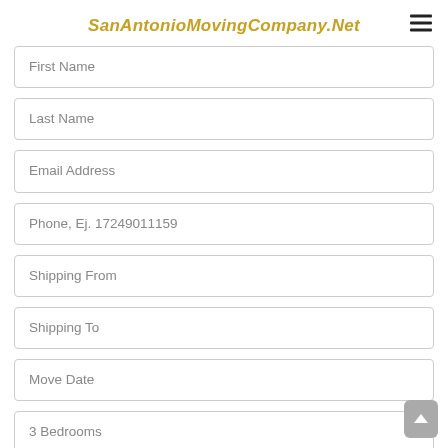SanAntonioMovingCompany.Net
First Name
Last Name
Email Address
Phone, Ej. 17249011159
Shipping From
Shipping To
Move Date
3 Bedrooms